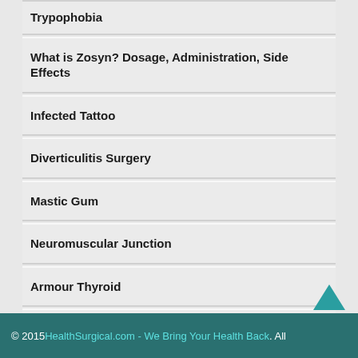Trypophobia
What is Zosyn? Dosage, Administration, Side Effects
Infected Tattoo
Diverticulitis Surgery
Mastic Gum
Neuromuscular Junction
Armour Thyroid
How Long does 9 drugs (substances) stay in your system
Pityrosporum Folliculitis
© 2015 HealthSurgical.com - We Bring Your Health Back. All